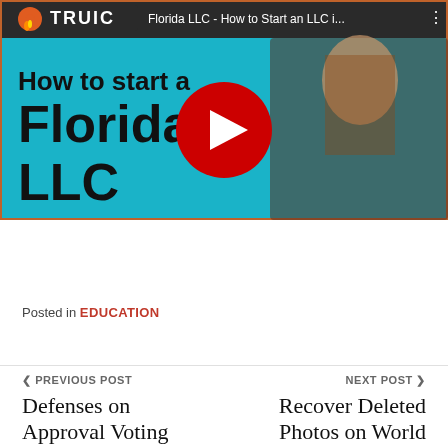[Figure (screenshot): YouTube video thumbnail showing 'Florida LLC - How to Start an LLC i...' with TRUIC logo (flame icon), text 'How to start a Florida LLC' on teal/cyan background with a woman leaning over a desk, and a red YouTube play button in the center.]
Posted in EDUCATION
< PREVIOUS POST
Defenses on Approval Voting
NEXT POST >
Recover Deleted Photos on World